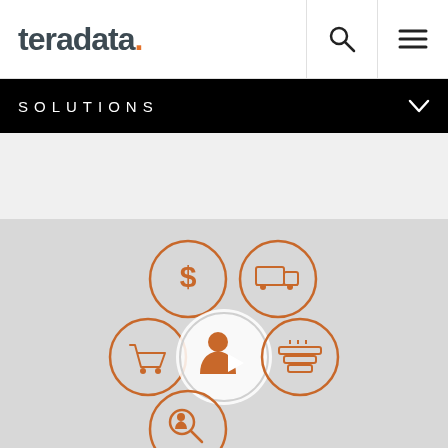teradata.
SOLUTIONS
[Figure (infographic): Teradata solutions infographic showing a central person icon (play button) surrounded by four circular icons: dollar sign (top-left), delivery truck (top-right), shopping cart (left), birthday cake/layered icon (right), and magnifying glass (bottom). All icons are orange/copper colored on a light gray background.]